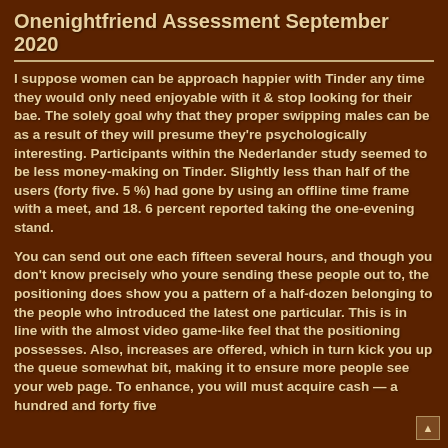Onenightfriend Assessment September 2020
I suppose women can be approach happier with Tinder any time they would only need enjoyable with it & stop looking for their bae. The solely goal why that they proper swipping males can be as a result of they will presume they're psychologically interesting. Participants within the Nederlander study seemed to be less money-making on Tinder. Slightly less than half of the users (forty five. 5 %) had gone by using an offline time frame with a meet, and 18. 6 percent reported taking the one-evening stand.
You can send out one each fifteen several hours, and though you don't know precisely who youre sending these people out to, the positioning does show you a pattern of a half-dozen belonging to the people who introduced the latest one particular. This is in line with the almost video game-like feel that the positioning possesses. Also, increases are offered, which in turn kick you up the queue somewhat bit, making it to ensure more people see your web page. To enhance, you will must acquire cash — a hundred and forty five